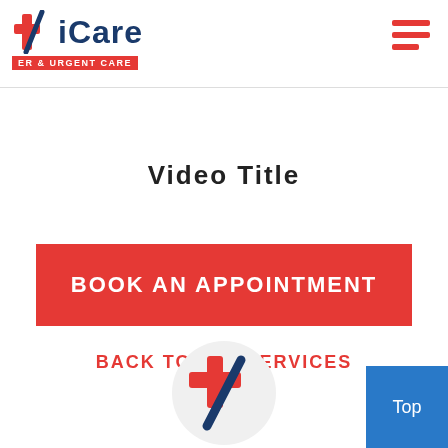[Figure (logo): iCare ER & Urgent Care logo with red cross/medical icon and blue text]
[Figure (other): Hamburger menu icon with three red horizontal lines]
Video Title
BOOK AN APPOINTMENT
BACK TO ALL SERVICES
[Figure (logo): iCare logo icon (red and blue medical cross) in circular grey background at bottom center]
Top